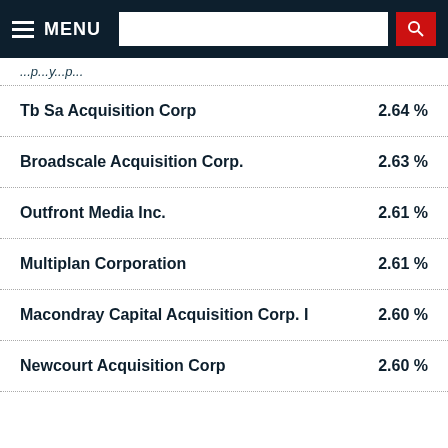MENU [search bar]
...p...p...
Tb Sa Acquisition Corp  2.64 %
Broadscale Acquisition Corp.  2.63 %
Outfront Media Inc.  2.61 %
Multiplan Corporation  2.61 %
Macondray Capital Acquisition Corp. I  2.60 %
Newcourt Acquisition Corp  2.60 %